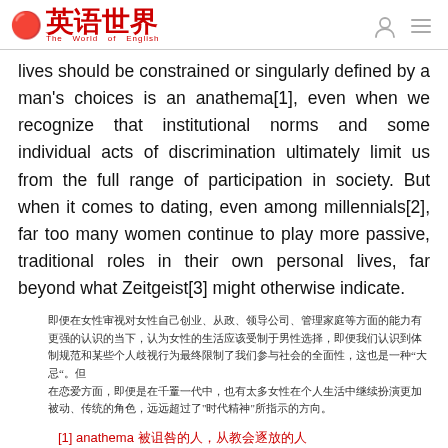英语世界 The World of English
lives should be constrained or singularly defined by a man's choices is an anathema[1], even when we recognize that institutional norms and some individual acts of discrimination ultimately limit us from the full range of participation in society. But when it comes to dating, even among millennials[2], far too many women continue to play more passive, traditional roles in their own personal lives, far beyond what Zeitgeist[3] might otherwise indicate.
（Chinese translation text paragraph）
[1] anathema （Chinese definition）